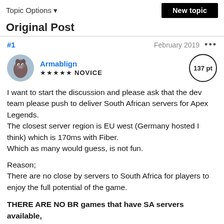Topic Options ▼    New topic
Original Post
#1    February 2019   •••
Armablign ★★★★★ NOVICE    137 pt
I want to start the discussion and please ask that the dev team please push to deliver South African servers for Apex Legends.
The closest server region is EU west (Germany hosted I think) which is 170ms with Fiber.
Which as many would guess, is not fun.
Reason;
There are no close by servers to South Africa for players to enjoy the full potential of the game.
THERE ARE NO BR games that have SA servers available,